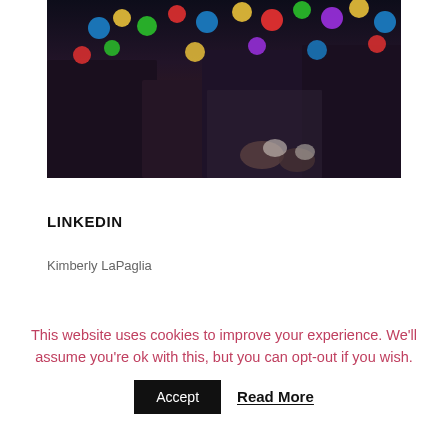[Figure (photo): Photo of people wearing colorful Christmas light bulb necklaces, dark background]
LINKEDIN
Kimberly LaPaglia
This website uses cookies to improve your experience. We'll assume you're ok with this, but you can opt-out if you wish.
Accept   Read More